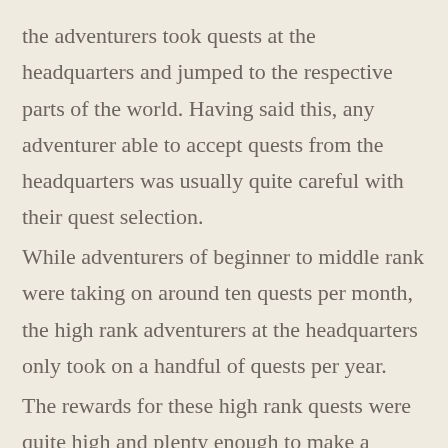the adventurers took quests at the headquarters and jumped to the respective parts of the world. Having said this, any adventurer able to accept quests from the headquarters was usually quite careful with their quest selection. While adventurers of beginner to middle rank were taking on around ten quests per month, the high rank adventurers at the headquarters only took on a handful of quests per year. The rewards for these high rank quests were quite high and plenty enough to make a living out of them. The adventurers were ranked by a unique system of the guild.